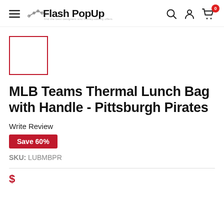Flash PopUp
[Figure (other): Product thumbnail placeholder — empty white box with red border]
MLB Teams Thermal Lunch Bag with Handle - Pittsburgh Pirates
Write Review
Save 60%
SKU: LUBMBPR